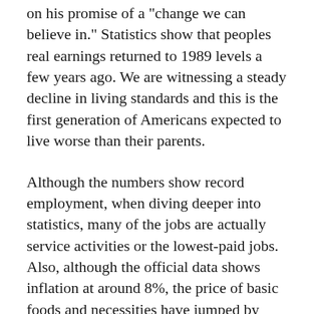on his promise of a "change we can believe in." Statistics show that peoples real earnings returned to 1989 levels a few years ago. We are witnessing a steady decline in living standards and this is the first generation of Americans expected to live worse than their parents.
Although the numbers show record employment, when diving deeper into statistics, many of the jobs are actually service activities or the lowest-paid jobs. Also, although the official data shows inflation at around 8%, the price of basic foods and necessities have jumped by 10% to 20%. These are the main reasons why US citizens are dissatisfied, especially as they are being bombarded with justifications on why it is critical for billions of dollars to be funnelled into Ukraine instead of dealing with American domestic issues.